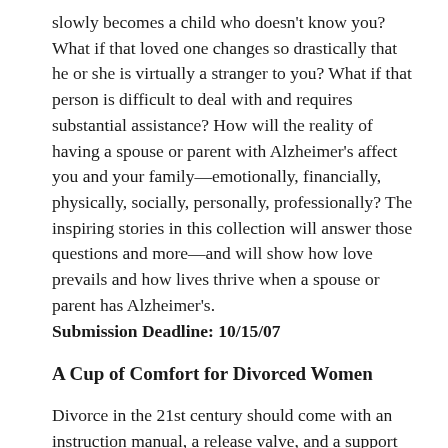slowly becomes a child who doesn't know you? What if that loved one changes so drastically that he or she is virtually a stranger to you? What if that person is difficult to deal with and requires substantial assistance? How will the reality of having a spouse or parent with Alzheimer's affect you and your family—emotionally, financially, physically, socially, personally, professionally? The inspiring stories in this collection will answer those questions and more—and will show how love prevails and how lives thrive when a spouse or parent has Alzheimer's. Submission Deadline: 10/15/07
A Cup of Comfort for Divorced Women
Divorce in the 21st century should come with an instruction manual, a release valve, and a support